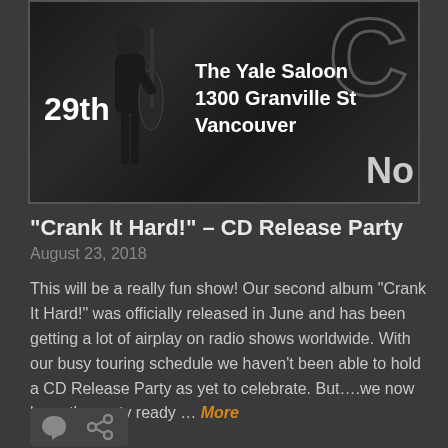[Figure (photo): Dark promotional event poster showing a performer silhouette playing upright bass, text '29th', 'The Yale Saloon 1300 Granville St Vancouver', partial large styled letter 'C' and 'No' visible on right side]
“Crank It Hard!” – CD Release Party
August 23, 2018
This will be a really fun show! Our second album “Crank It Hard!” was officially released in June and has been getting a lot of airplay on radio shows worldwide. With our busy touring schedule we haven’t been able to hold a CD Release Party as yet to celebrate. But….we now have the party ready … More